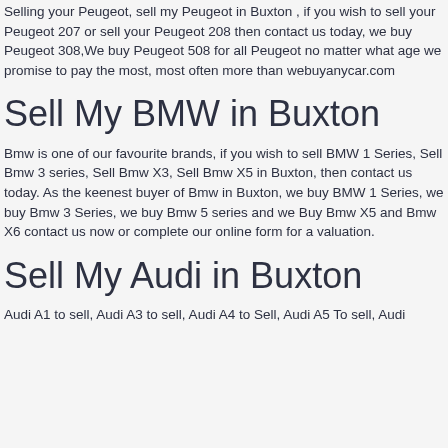Selling your Peugeot, sell my Peugeot in Buxton , if you wish to sell your Peugeot 207 or sell your Peugeot 208 then contact us today, we buy Peugeot 308,We buy Peugeot 508 for all Peugeot no matter what age we promise to pay the most, most often more than webuyanycar.com
Sell My BMW in Buxton
Bmw is one of our favourite brands, if you wish to sell BMW 1 Series, Sell Bmw 3 series, Sell Bmw X3, Sell Bmw X5 in Buxton, then contact us today. As the keenest buyer of Bmw in Buxton, we buy BMW 1 Series, we buy Bmw 3 Series, we buy Bmw 5 series and we Buy Bmw X5 and Bmw X6 contact us now or complete our online form for a valuation.
Sell My Audi in Buxton
Audi A1 to sell, Audi A3 to sell, Audi A4 to Sell, Audi A5 To sell, Audi